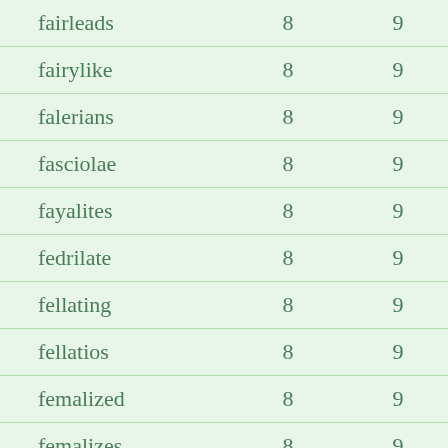| fairleads | 8 | 9 |
| fairylike | 8 | 9 |
| falerians | 8 | 9 |
| fasciolae | 8 | 9 |
| fayalites | 8 | 9 |
| fedrilate | 8 | 9 |
| fellating | 8 | 9 |
| fellatios | 8 | 9 |
| femalized | 8 | 9 |
| femalizes | 8 | 9 |